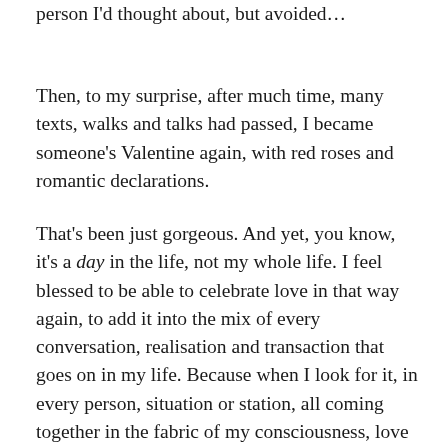person I'd thought about, but avoided...
Then, to my surprise, after much time, many texts, walks and talks had passed, I became someone's Valentine again, with red roses and romantic declarations.
That's been just gorgeous. And yet, you know, it's a day in the life, not my whole life. I feel blessed to be able to celebrate love in that way again, to add it into the mix of every conversation, realisation and transaction that goes on in my life. Because when I look for it, in every person, situation or station, all coming together in the fabric of my consciousness, love is always there.